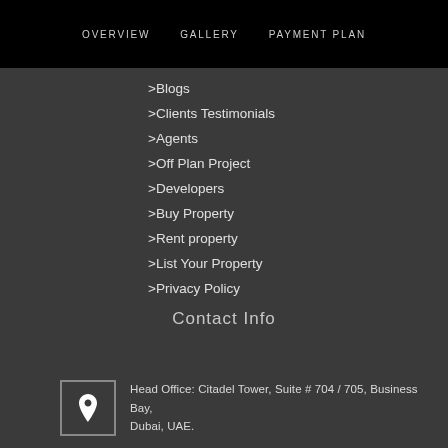OVERVIEW   GALLERY   PAYMENT PLAN
> Blogs
> Clients Testimonials
> Agents
> Off Plan Project
> Developers
> Buy Property
> Rent property
> List Your Property
> Privacy Policy
Contact Info
Head Office: Citadel Tower, Suite # 704 / 705, Business Bay, Dubai, UAE.